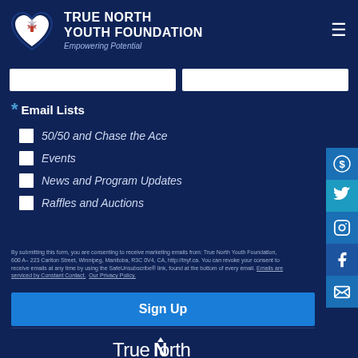[Figure (logo): True North Youth Foundation logo - heart shape with maple leaf and star, dark navy border]
TRUE NORTH YOUTH FOUNDATION
Empowering Potential
* Email Lists
50/50 and Chase the Ace
Events
News and Program Updates
Raffles and Auctions
By submitting this form, you are consenting to receive marketing emails from: True North Youth Foundation, 600 A– 223 Carlton Street, Winnipeg, Manitoba, R3C 0V4, CA, http://tnyf.ca. You can revoke your consent to receive emails at any time by using the SafeUnsubscribe® link, found at the bottom of every email. Emails are serviced by Constant Contact. Our Privacy Policy.
Sign Up
[Figure (logo): True North wordmark logo in white at bottom of page]